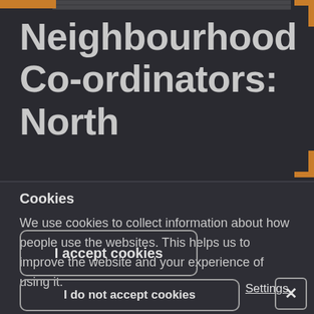Neighbourhood Co-ordinators: North
Cookies
We use cookies to collect information about how people use the websites. This helps us to improve the website and your experience of using it.
I accept cookies
I do not accept cookies
Settings